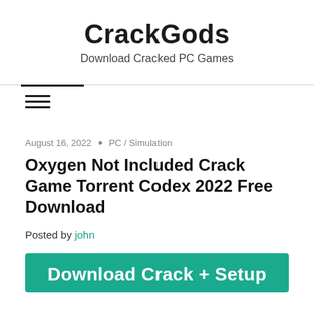CrackGods
Download Cracked PC Games
August 16, 2022  •  PC / Simulation
Oxygen Not Included Crack Game Torrent Codex 2022 Free Download
Posted by john
Download Crack + Setup